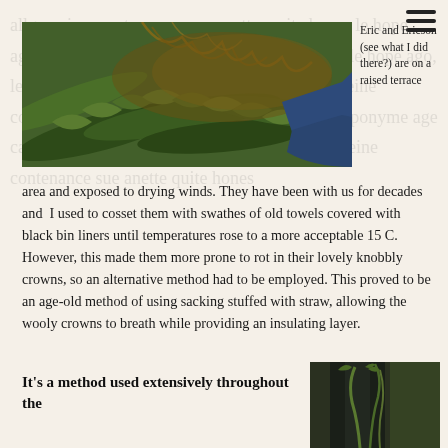[Figure (photo): Close-up photo of fern fronds with roots/dried plant material, held by a hand in a blue sleeve]
Eric and Ericson (see what I did there?) are on a raised terrace area and exposed to drying winds. They have been with us for decades and  I used to cosset them with swathes of old towels covered with black bin liners until temperatures rose to a more acceptable 15 C. However, this made them more prone to rot in their lovely knobbly crowns, so an alternative method had to be employed. This proved to be an age-old method of using sacking stuffed with straw, allowing the wooly crowns to breath while providing an insulating layer.
It's a method used extensively throughout the
[Figure (photo): Photo of dark clothing with plant/grass stems visible, outdoor garden scene]